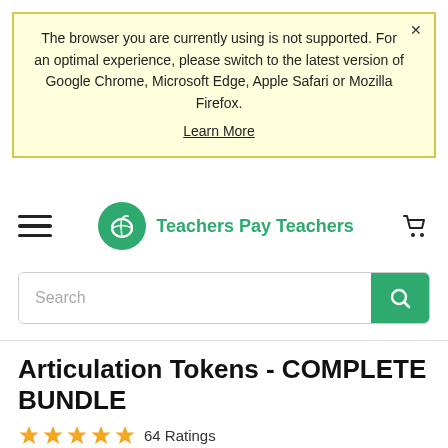The browser you are currently using is not supported. For an optimal experience, please switch to the latest version of Google Chrome, Microsoft Edge, Apple Safari or Mozilla Firefox. Learn More
[Figure (logo): Teachers Pay Teachers navigation bar with hamburger menu, green circular logo with apple icon, brand name 'Teachers Pay Teachers' in green, and shopping cart icon]
[Figure (screenshot): Search bar with placeholder text 'Search' and green search button with magnifying glass icon]
Articulation Tokens - COMPLETE BUNDLE
64 Ratings